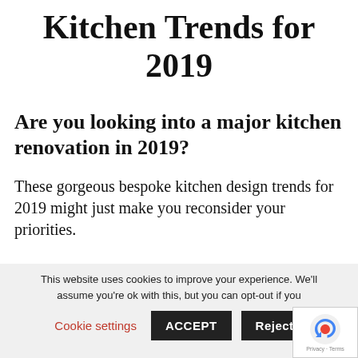Kitchen Trends for 2019
Are you looking into a major kitchen renovation in 2019?
These gorgeous bespoke kitchen design trends for 2019 might just make you reconsider your priorities.
This website uses cookies to improve your experience. We'll assume you're ok with this, but you can opt-out if you
Cookie settings   ACCEPT   Reject